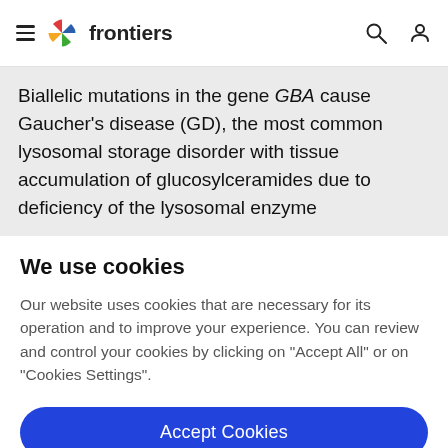≡ frontiers
Biallelic mutations in the gene GBA cause Gaucher's disease (GD), the most common lysosomal storage disorder with tissue accumulation of glucosylceramides due to deficiency of the lysosomal enzyme
We use cookies
Our website uses cookies that are necessary for its operation and to improve your experience. You can review and control your cookies by clicking on "Accept All" or on "Cookies Settings".
Accept Cookies
Cookies Settings